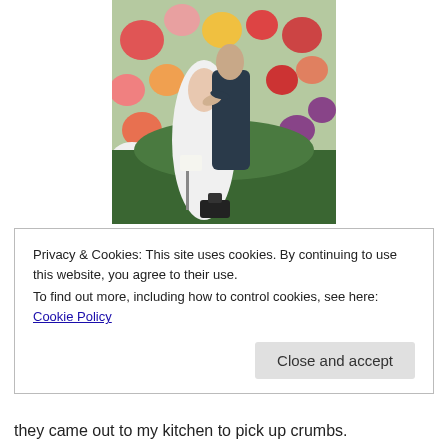[Figure (photo): A couple in wedding attire embracing in a field of colorful dahlias. The bride wears a white gown and the groom wears a dark suit. Photography equipment is visible at the bottom.]
Privacy & Cookies: This site uses cookies. By continuing to use this website, you agree to their use.
To find out more, including how to control cookies, see here: Cookie Policy
Close and accept
they came out to my kitchen to pick up crumbs.